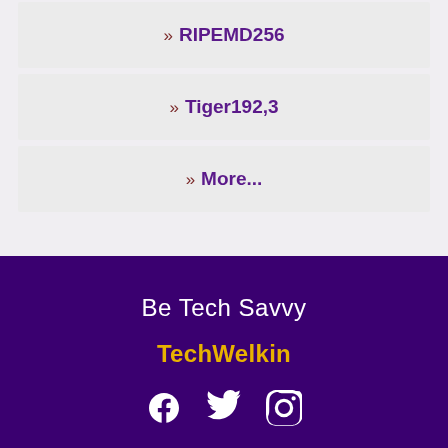» RIPEMD256
» Tiger192,3
» More...
Be Tech Savvy
TechWelkin